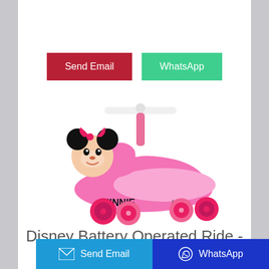[Figure (other): Two buttons: 'Send Email' (dark red) and 'WhatsApp' (green teal)]
[Figure (photo): Pink Minnie Mouse Disney ride-on toy car with white steering handle, Minnie Mouse face figurine on front, pink plastic body with 'MINNIE' text on side, four pink wheels]
Disney Battery Operated Ride -
[Figure (other): Footer bar with two buttons: 'Send Email' (light blue with email icon) and 'WhatsApp' (dark blue with WhatsApp icon)]